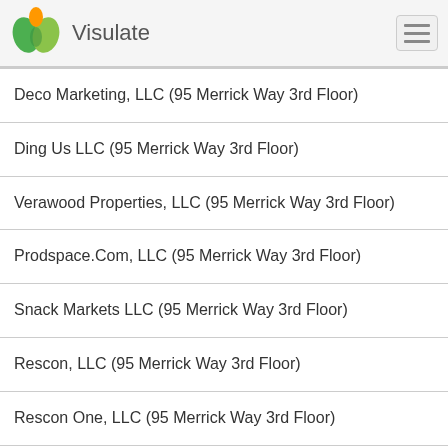Visulate
Deco Marketing, LLC (95 Merrick Way 3rd Floor)
Ding Us LLC (95 Merrick Way 3rd Floor)
Verawood Properties, LLC (95 Merrick Way 3rd Floor)
Prodspace.Com, LLC (95 Merrick Way 3rd Floor)
Snack Markets LLC (95 Merrick Way 3rd Floor)
Rescon, LLC (95 Merrick Way 3rd Floor)
Rescon One, LLC (95 Merrick Way 3rd Floor)
Rescon Two, LLC (95 Merrick Way 3rd Floor)
Verawood Legacy LLC (95 Merrick Way 3rd Floor)
Rescon Three, LLC (95 Merrick Way 3rd Floor)